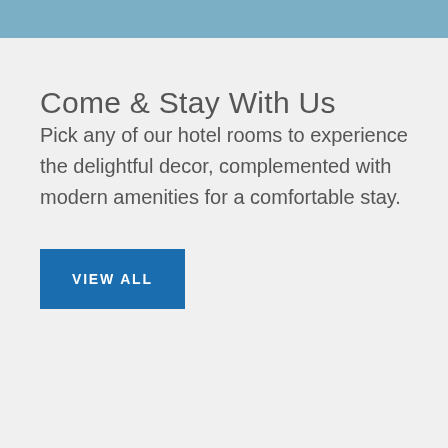Come & Stay With Us
Pick any of our hotel rooms to experience the delightful decor, complemented with modern amenities for a comfortable stay.
VIEW ALL